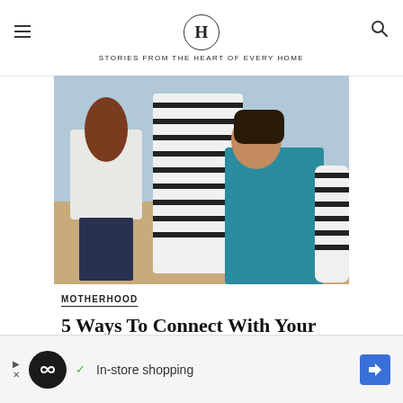H — STORIES FROM THE HEART OF EVERY HOME
[Figure (photo): A woman and two children photographed from behind outdoors; one child wears a striped shirt, another wears a teal/blue shirt. The background shows a sandy or wooden surface and water.]
MOTHERHOOD
5 Ways To Connect With Your Kids Right Now
[Figure (infographic): Advertisement banner: black circle with infinity-loop icon, green checkmark, text 'In-store shopping', blue diamond-shaped navigation arrow icon.]